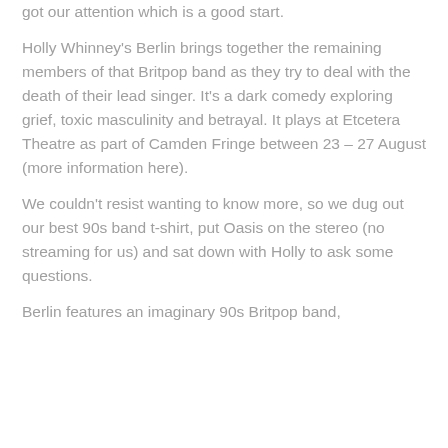got our attention which is a good start.
Holly Whinney's Berlin brings together the remaining members of that Britpop band as they try to deal with the death of their lead singer. It's a dark comedy exploring grief, toxic masculinity and betrayal. It plays at Etcetera Theatre as part of Camden Fringe between 23 – 27 August (more information here).
We couldn't resist wanting to know more, so we dug out our best 90s band t-shirt, put Oasis on the stereo (no streaming for us) and sat down with Holly to ask some questions.
Berlin features an imaginary 90s Britpop band,